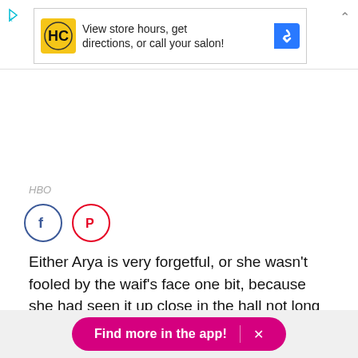[Figure (screenshot): Advertisement banner for a hair salon app (HC logo) with text 'View store hours, get directions, or call your salon!' and a blue navigation arrow icon]
HBO
[Figure (infographic): Social sharing buttons: Facebook (blue circle with f icon) and Pinterest (red circle with P icon)]
Either Arya is very forgetful, or she wasn't fooled by the waif's face one bit, because she had seen it up close in the hall not long ago.
Find more in the app! ×